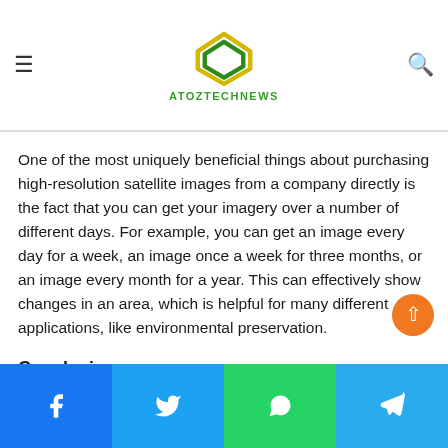ATOZTECHNEWS
One of the most uniquely beneficial things about purchasing high-resolution satellite images from a company directly is the fact that you can get your imagery over a number of different days. For example, you can get an image every day for a week, an image once a week for three months, or an image every month for a year. This can effectively show changes in an area, which is helpful for many different applications, like environmental preservation.
Conclusion
High-resolution satellite imagery is an important tool that many